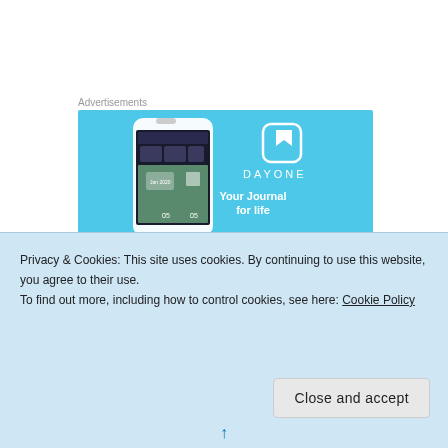Advertisements
[Figure (screenshot): DayOne app advertisement banner with blue background showing a phone mockup with journal app interface on the left, and DayOne logo with tagline 'Your Journal for life' on the right]
I remember adults expressing extreme irritation and
Privacy & Cookies: This site uses cookies. By continuing to use this website, you agree to their use.
To find out more, including how to control cookies, see here: Cookie Policy
Close and accept